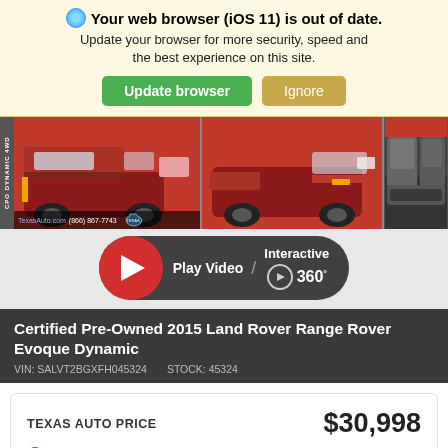Your web browser (iOS 11) is out of date. Update your browser for more security, speed and the best experience on this site.
[Figure (screenshot): Three car photos showing a red Land Rover Range Rover Evoque Dynamic from different angles: front-left exterior, rear-left exterior, and interior seats. Images include Texas Auto dealer branding, phone number (866) 867-7743, and Texas state outline logo. CPO DYNAMIC 4WD label on left edge.]
[Figure (screenshot): Video/Interactive 360 button: large red circular play button on left, pill-shaped dark background with 'Play Video / Interactive 360°' text and controls.]
Certified Pre-Owned 2015 Land Rover Range Rover Evoque Dynamic
VIN: SALVT2BGXFH045324    STOCK: 45324
| TEXAS AUTO PRICE | $30,998 |
| --- | --- |
| Details |  |